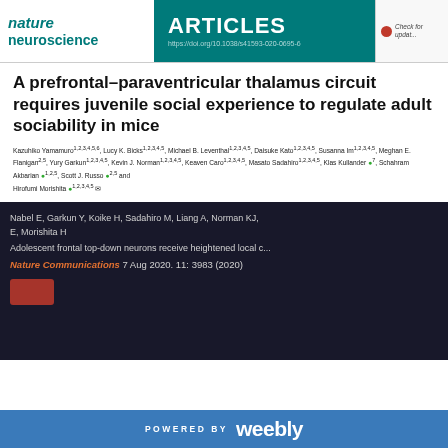nature neuroscience | ARTICLES | https://doi.org/10.1038/s41593-020-0695-6
A prefrontal–paraventricular thalamus circuit requires juvenile social experience to regulate adult sociability in mice
Kazuhiko Yamamuro1,2,3,4,5,6, Lucy K. Bicks1,2,3,4,5, Michael B. Leventhal1,2,3,4,5, Daisuke Kato1,2,3,4,5, Susanna Im1,2,3,4,5, Meghan E. Flanigan2,5, Yury Garkun1,2,3,4,5, Kevin J. Norman1,2,3,4,5, Keaven Caro1,2,3,4,5, Masato Sadahiro1,2,3,4,5, Klas Kullander7, Schahram Akbarian1,2,5, Scott J. Russo2,5 and Hirofumi Morishita1,2,3,4,5
Nabel E, Garkun Y, Koike H, Sadahiro M, Liang A, Norman KJ, ... E, Morishita H
Adolescent frontal top-down neurons receive heightened local c...
Nature Communications 7 Aug 2020. 11: 3983 (2020)
POWERED BY weebly